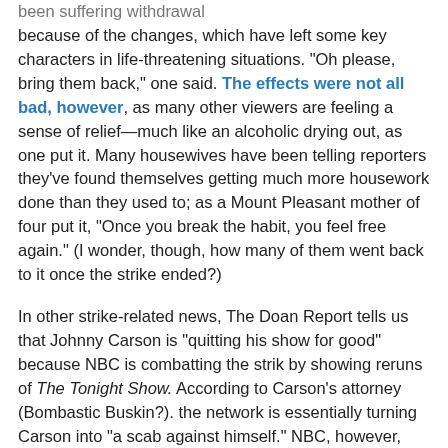been suffering withdrawal because of the changes, which have left some key characters in life-threatening situations. "Oh please, bring them back," one said. The effects were not all bad, however, as many other viewers are feeling a sense of relief—much like an alcoholic drying out, as one put it. Many housewives have been telling reporters they've found themselves getting much more housework done than they used to; as a Mount Pleasant mother of four put it, "Once you break the habit, you feel free again." (I wonder, though, how many of them went back to it once the strike ended?)
In other strike-related news, The Doan Report tells us that Johnny Carson is "quitting his show for good" because NBC is combatting the strik by showing reruns of The Tonight Show. According to Carson's attorney (Bombastic Buskin?). the network is essentially turning Carson into "a scab against himself." NBC, however, responds that the star, who's making $780,000 a year (roughly $6.2 million in today's dollars) and has already developed a reputation for difficulty (remember his 15-minute flu?), is merely holding out for more money.